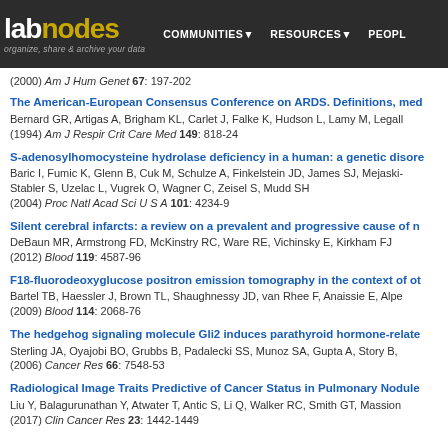labnodes — organize, share & archive your data | COMMUNITIES | RESOURCES | PEOPLE
(2000) Am J Hum Genet 67: 197-202
The American-European Consensus Conference on ARDS. Definitions, med... Bernard GR, Artigas A, Brigham KL, Carlet J, Falke K, Hudson L, Lamy M, Legall... (1994) Am J Respir Crit Care Med 149: 818-24
S-adenosylhomocysteine hydrolase deficiency in a human: a genetic disore... Baric I, Fumic K, Glenn B, Cuk M, Schulze A, Finkelstein JD, James SJ, Mejaski-... Stabler S, Uzelac L, Vugrek O, Wagner C, Zeisel S, Mudd SH (2004) Proc Natl Acad Sci U S A 101: 4234-9
Silent cerebral infarcts: a review on a prevalent and progressive cause of n... DeBaun MR, Armstrong FD, McKinstry RC, Ware RE, Vichinsky E, Kirkham FJ (2012) Blood 119: 4587-96
F18-fluorodeoxyglucose positron emission tomography in the context of ot... Bartel TB, Haessler J, Brown TL, Shaughnessy JD, van Rhee F, Anaissie E, Alpe... (2009) Blood 114: 2068-76
The hedgehog signaling molecule Gli2 induces parathyroid hormone-relate... Sterling JA, Oyajobi BO, Grubbs B, Padalecki SS, Munoz SA, Gupta A, Story B, ... (2006) Cancer Res 66: 7548-53
Radiological Image Traits Predictive of Cancer Status in Pulmonary Nodule... Liu Y, Balagurunathan Y, Atwater T, Antic S, Li Q, Walker RC, Smith GT, Massion... (2017) Clin Cancer Res 23: 1442-1449